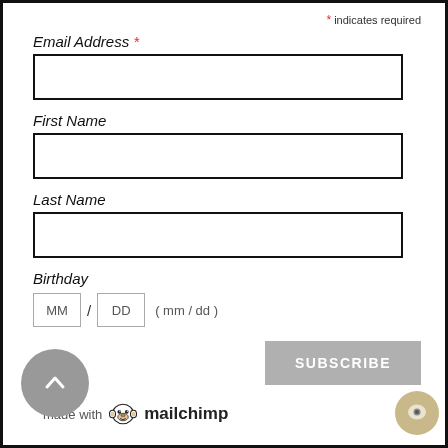* indicates required
Email Address *
First Name
Last Name
Birthday
MM / DD ( mm / dd )
SUBSCRIBE
[Figure (logo): made with mailchimp logo with monkey icon]
[Figure (other): Gray circular scroll-to-top button with upward chevron arrow]
[Figure (other): Tan/beige circular chat button in bottom right corner]